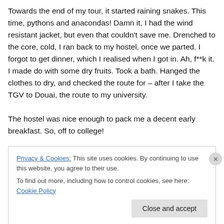Towards the end of my tour, it started raining snakes. This time, pythons and anacondas! Damn it, I had the wind resistant jacket, but even that couldn't save me. Drenched to the core, cold, I ran back to my hostel, once we parted. I forgot to get dinner, which I realised when I got in. Ah, f**k it. I made do with some dry fruits. Took a bath. Hanged the clothes to dry, and checked the route for – after I take the TGV to Douai, the route to my university.
The hostel was nice enough to pack me a decent early breakfast. So, off to college!
Privacy & Cookies: This site uses cookies. By continuing to use this website, you agree to their use.
To find out more, including how to control cookies, see here: Cookie Policy